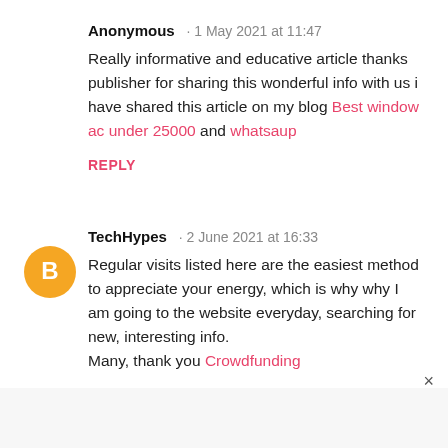Anonymous · 1 May 2021 at 11:47
Really informative and educative article thanks publisher for sharing this wonderful info with us i have shared this article on my blog Best window ac under 25000 and whatsaup
REPLY
[Figure (illustration): Orange circle avatar with white letter B inside, representing the Blogger platform user icon for TechHypes]
TechHypes · 2 June 2021 at 16:33
Regular visits listed here are the easiest method to appreciate your energy, which is why why I am going to the website everyday, searching for new, interesting info.
Many, thank you Crowdfunding
REPLY